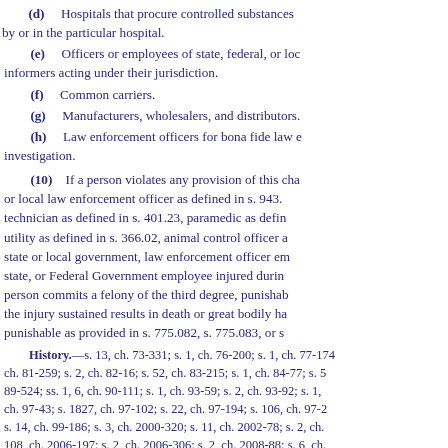(d)    Hospitals that procure controlled substances by or in the particular hospital.
(e)    Officers or employees of state, federal, or local informers acting under their jurisdiction.
(f)    Common carriers.
(g)    Manufacturers, wholesalers, and distributors.
(h)    Law enforcement officers for bona fide law enforcement investigation.
(10)    If a person violates any provision of this chapter or local law enforcement officer as defined in s. 943. technician as defined in s. 401.23, paramedic as defined utility as defined in s. 366.02, animal control officer as state or local government, law enforcement officer employed state, or Federal Government employee injured during person commits a felony of the third degree, punishable the injury sustained results in death or great bodily harm punishable as provided in s. 775.082, s. 775.083, or s
History.—s. 13, ch. 73-331; s. 1, ch. 76-200; s. 1, ch. 77-174; ch. 81-259; s. 2, ch. 82-16; s. 52, ch. 83-215; s. 1, ch. 84-77; s. 5, 89-524; ss. 1, 6, ch. 90-111; s. 1, ch. 93-59; s. 2, ch. 93-92; s. 1, ch. 97-43; s. 1827, ch. 97-102; s. 22, ch. 97-194; s. 106, ch. 97-2; s. 14, ch. 99-186; s. 3, ch. 2000-320; s. 11, ch. 2002-78; s. 2, ch. 108, ch. 2006-197; s. 2, ch. 2006-306; s. 2, ch. 2008-88; s. 6, ch. s. 2, ch. 2012-23; s. 3, ch. 2013-29; s. 153, ch. 2013-183; s. 2, ch.